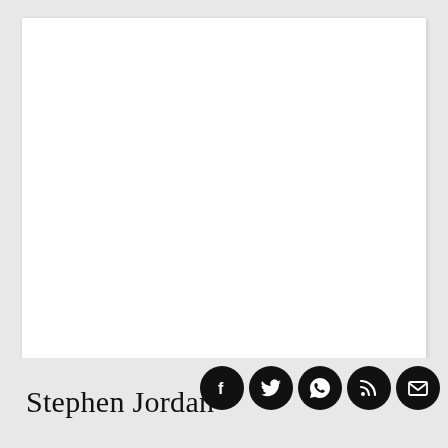The Game Samples Drake On New Track, “Drake Flows”
Despite Dealing With Graves’ Disease, Missy Elliott’s Impact Remains Undeniable
Big Boi Reveals Plans For New Solo Album In 2017
Stephen Jordan
[Figure (infographic): Row of five social media icon circles (Facebook, Twitter, WhatsApp, RSS, Email) in black on grey background]